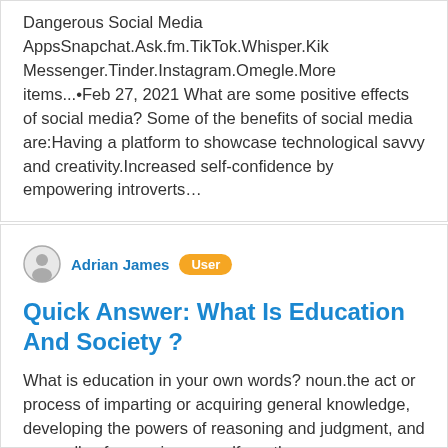Dangerous Social Media AppsSnapchat.Ask.fm.TikTok.Whisper.Kik Messenger.Tinder.Instagram.Omegle.More items...•Feb 27, 2021 What are some positive effects of social media? Some of the benefits of social media are:Having a platform to showcase technological savvy and creativity.Increased self-confidence by empowering introverts…
Adrian James  User
Quick Answer: What Is Education And Society ?
What is education in your own words? noun.the act or process of imparting or acquiring general knowledge, developing the powers of reasoning and judgment, and generally of preparing oneself or others